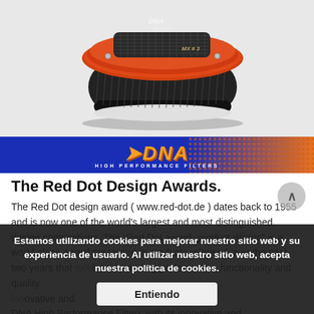[Figure (photo): DNA High Performance Filters product photo — orange/red oval air filter with pleated filter media, Stage-3 MX#3 labeling, viewed from above at angle]
[Figure (logo): DNA High Performance Filters banner logo — blue to orange gradient background with italic DNA wordmark in orange and 'HIGH PERFORMANCE FILTERS' subtitle]
The Red Dot Design Awards.
The Red Dot design award ( www.red-dot.de ) dates back to 1955 and is now one of the world's largest and most distinguished design competitions. The "Red Dot award: product design" is a world-class award presented to products released over the past two years that exhibit outstanding performance, functionality and quality. DNA High Performance Filters with its innovative and environmentally friendly design that can compete with the best in the industry...
Estamos utilizando cookies para mejorar nuestro sitio web y su experiencia de usuario. Al utilizar nuestro sitio web, acepta nuestra política de cookies.
Entiendo